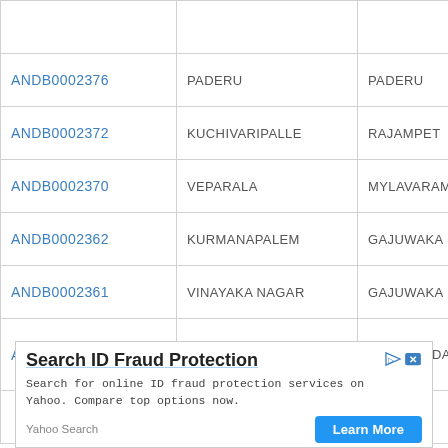| IFSC | Branch | District |
| --- | --- | --- |
| ANDB0002376 | PADERU | PADERU |
| ANDB0002372 | KUCHIVARIPALLE | RAJAMPET |
| ANDB0002370 | VEPARALA | MYLAVARAM |
| ANDB0002362 | KURMANAPALEM | GAJUWAKA |
| ANDB0002361 | VINAYAKA NAGAR | GAJUWAKA |
| ANDB0002357 | MARKET AREA TADEPALLIGUDEM | WEST GODAVARI |
[Figure (other): Advertisement banner for 'Search ID Fraud Protection' - Yahoo Search ad with Learn More button]